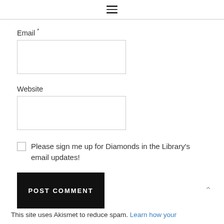☰
Email *
Website
Please sign me up for Diamonds in the Library's email updates!
POST COMMENT
This site uses Akismet to reduce spam. Learn how your